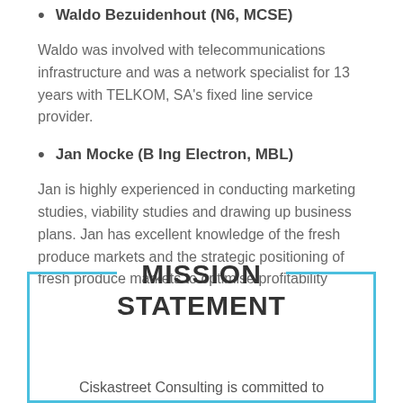Waldo Bezuidenhout (N6, MCSE)
Waldo was involved with telecommunications infrastructure and was a network specialist for 13 years with TELKOM, SA's fixed line service provider.
Jan Mocke (B Ing Electron, MBL)
Jan is highly experienced in conducting marketing studies, viability studies and drawing up business plans. Jan has excellent knowledge of the fresh produce markets and the strategic positioning of fresh produce markets to optimise profitability
MISSION STATEMENT
Ciskastreet Consulting is committed to